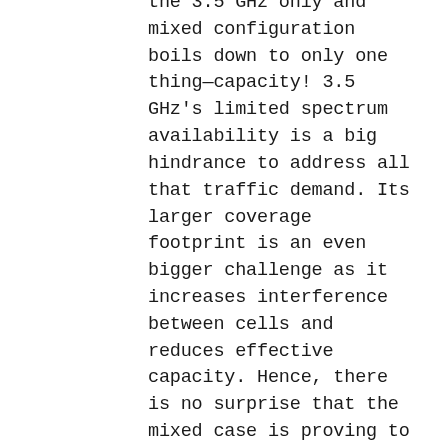the 3.5 GHz only and mixed configuration boils down to only one thing—capacity! 3.5 GHz's limited spectrum availability is a big hindrance to address all that traffic demand. Its larger coverage footprint is an even bigger challenge as it increases interference between cells and reduces effective capacity. Hence, there is no surprise that the mixed case is proving to be more cost-effective. The study rightly considers the presence of the enterprise Wi-Fi network and distributes the traffic between that and the indoor 5G network. Additionally, some applications such as AR/VR/XR, mission-critical and latency-sensitive services in the dense enterprise setting, probably would need 5G by default, especially the high bandwidth mmWave 5G.